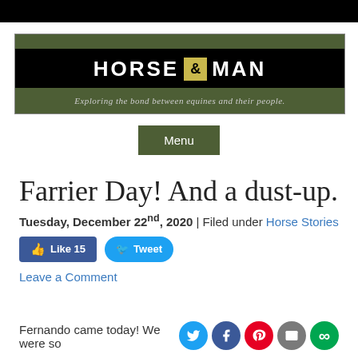[Figure (logo): Horse & Man blog banner with olive green background, black bar with white bold text HORSE & MAN with golden ampersand box, tagline 'Exploring the bond between equines and their people.']
Menu
Farrier Day! And a dust-up.
Tuesday, December 22nd, 2020 | Filed under Horse Stories
Like 15   Tweet
Leave a Comment
Fernando came today!  We were so